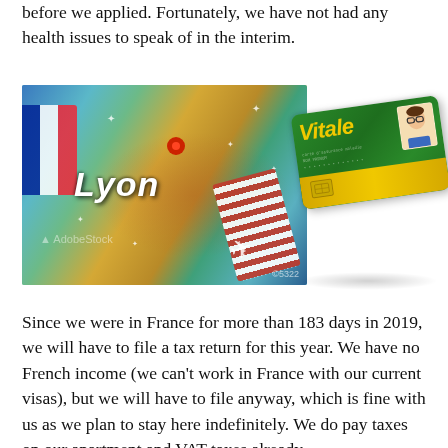before we applied. Fortunately, we have not had any health issues to speak of in the interim.
[Figure (photo): Two images side by side: Left — a colorful map showing Europe with 'Lyon' text overlay, a red location pin, French flag, airplane, and travel tickets. Right — a French Carte Vitale (health insurance card) in green and yellow with a cartoon avatar.]
Since we were in France for more than 183 days in 2019, we will have to file a tax return for this year. We have no French income (we can't work in France with our current visas), but we will have to file anyway, which is fine with us as we plan to stay here indefinitely. We do pay taxes on our apartment and VAT taxes already.